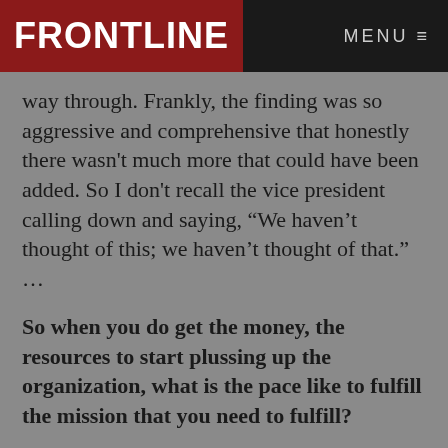FRONTLINE   MENU
way through. Frankly, the finding was so aggressive and comprehensive that honestly there wasn't much more that could have been added. So I don't recall the vice president calling down and saying, “We haven’t thought of this; we haven’t thought of that.” …
So when you do get the money, the resources to start plussing up the organization, what is the pace like to fulfill the mission that you need to fulfill?
Keep in mind, 9/11 was clearly sui generis, so I